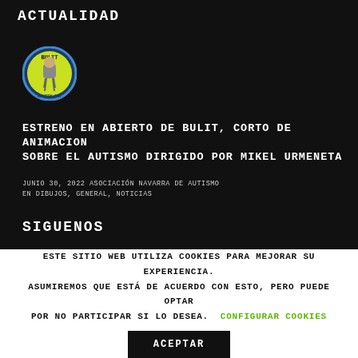ACTUALIDAD
[Figure (logo): Circular logo with blue border and yellow/green center, featuring a cartoon character and text 'BULIT' and 'NO SIN ART']
ESTRENO EN ABIERTO DE BULIT, CORTO DE ANIMACION SOBRE EL AUTISMO DIRIGIDO POR MIKEL URMENETA
JUNIO 30, 2022 ASOCIACIÓN NAVARRA DE AUTISMO EN DIBUJOS, GENERAL, NOTICIAS
SIGUENOS
ESTE SITIO WEB UTILIZA COOKIES PARA MEJORAR SU EXPERIENCIA. ASUMIREMOS QUE ESTÁ DE ACUERDO CON ESTO, PERO PUEDE OPTAR POR NO PARTICIPAR SI LO DESEA. CONFIGURAR COOKIES
ACEPTAR